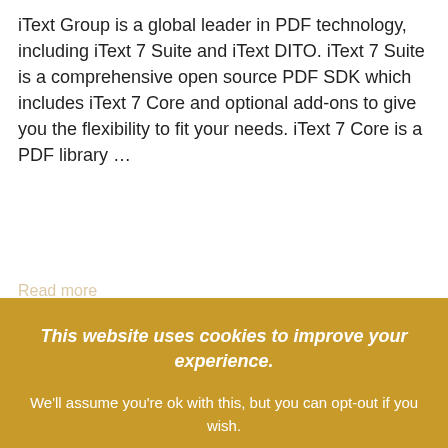iText Group is a global leader in PDF technology, including iText 7 Suite and iText DITO. iText 7 Suite is a comprehensive open source PDF SDK which includes iText 7 Core and optional add-ons to give you the flexibility to fit your needs. iText 7 Core is a PDF library …
Read more
LATEST NEWS
This website uses cookies to improve your experience.

We'll assume you're ok with this, but you can opt-out if you wish.

ACCEPT

Cookie settings   Read More
New Way to Convert PDF to Word with High-Quality Graphics for Adobe Acrobat